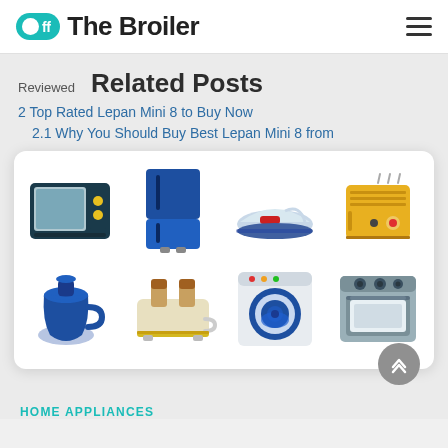Off The Broiler
Reviewed
Related Posts
2 Top Rated Lepan Mini 8 to Buy Now
2.1 Why You Should Buy Best Lepan Mini 8 from
[Figure (illustration): Grid of 8 home appliance icons: microwave, refrigerator, iron, toaster, kettle, bread toaster, washing machine, stove/oven]
HOME APPLIANCES